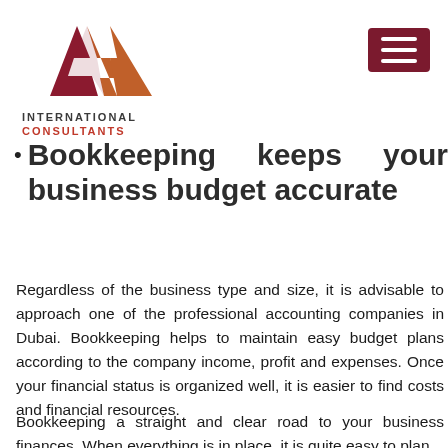[Figure (logo): AVA International Consultants logo with stylized red and orange letter A shapes and company name text below]
Bookkeeping keeps your business budget accurate
Regardless of the business type and size, it is advisable to approach one of the professional accounting companies in Dubai. Bookkeeping helps to maintain easy budget plans according to the company income, profit and expenses. Once your financial status is organized well, it is easier to find costs and financial resources.
Bookkeeping a straight and clear road to your business finances. When everything is in place, it is quite easy to plan